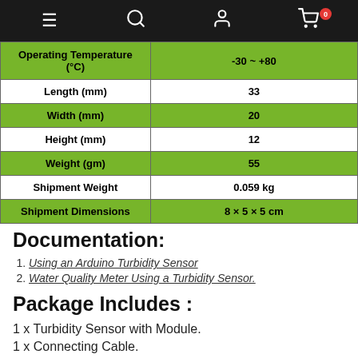Navigation bar with menu, search, account, and cart (0 items)
| Specification | Value |
| --- | --- |
| Operating Temperature (°C) | -30 ~ +80 |
| Length (mm) | 33 |
| Width (mm) | 20 |
| Height (mm) | 12 |
| Weight (gm) | 55 |
| Shipment Weight | 0.059 kg |
| Shipment Dimensions | 8 × 5 × 5 cm |
Documentation:
Using an Arduino Turbidity Sensor
Water Quality Meter Using a Turbidity Sensor.
Package Includes :
1 x Turbidity Sensor with Module.
1 x Connecting Cable.